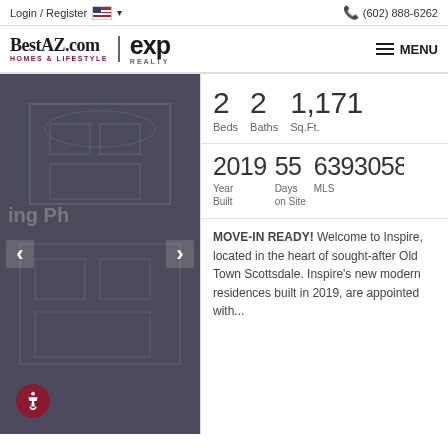Login / Register  🇺🇸 ▾   ☏ (602) 888-6262
[Figure (logo): BestAZ.com Homes & Lifestyle | exp Realty logo with MENU navigation]
[Figure (photo): Dark blueprint-style architectural rendering with navigation arrows and accessibility icon]
2 Beds   2 Baths   1,171 Sq.Ft.
2019 Year Built   55 Days on Site   6393058 MLS
MOVE-IN READY! Welcome to Inspire, located in the heart of sought-after Old Town Scottsdale. Inspire's new modern residences built in 2019, are appointed with...